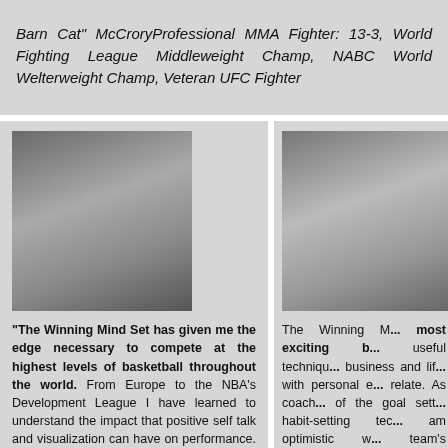Barn Cat" McCroryProfessional MMA Fighter: 13-3, World Fighting League Middleweight Champ, NABC World Welterweight Champ, Veteran UFC Fighter
[Figure (photo): Basketball player in white uniform passing or shooting ball in a crowded arena]
"The Winning Mind Set has given me the edge necessary to compete at the highest levels of basketball throughout the world. From Europe to the NBA's Development League I have learned to understand the impact that positive self talk and visualization can have on performance. This understanding has helped me to tap in to potential I never knew I had and as a result my dream of playing professional basketball has become a reality."
[Figure (photo): Person outdoors in action, partial photo visible on right side of page]
The Winning M... most exciting b... useful techniqu... business and lif... with personal e... relate. As coach... of the goal sett... habit-setting tec... am optimistic w... team's perform...